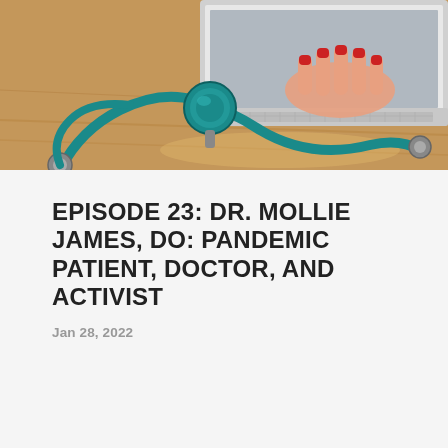[Figure (photo): Close-up photo of a person with red nail polish typing on a laptop keyboard, with a teal/blue stethoscope lying on a wooden desk surface in the foreground.]
EPISODE 23: DR. MOLLIE JAMES, DO: PANDEMIC PATIENT, DOCTOR, AND ACTIVIST
Jan 28, 2022